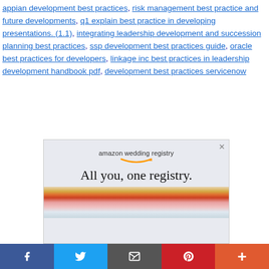appian development best practices, risk management best practice and future developments, q1 explain best practice in developing presentations. (1.1), integrating leadership development and succession planning best practices, ssp development best practices guide, oracle best practices for developers, linkage inc best practices in leadership development handbook pdf, development best practices servicenow
[Figure (other): Amazon wedding registry advertisement showing 'All you, one registry.' text with flowers at the bottom]
Facebook | Twitter | Email | Pinterest | More